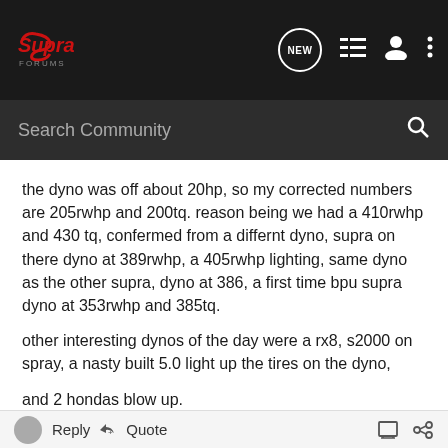Supra Forums — NEW, list, user, menu icons; Search Community
the dyno was off about 20hp, so my corrected numbers are 205rwhp and 200tq. reason being we had a 410rwhp and 430 tq, confermed from a differnt dyno, supra on there dyno at 389rwhp, a 405rwhp lighting, same dyno as the other supra, dyno at 386, a first time bpu supra dyno at 353rwhp and 385tq.
other interesting dynos of the day were a rx8, s2000 on spray, a nasty built 5.0 light up the tires on the dyno,
and 2 hondas blow up.
one guy poped his radiator, other guy blew out a valve or bent a valve or something.
Reply   Quote